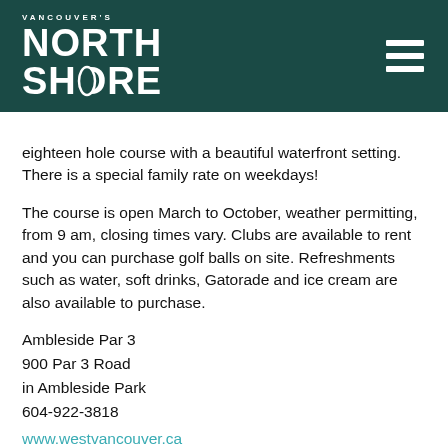[Figure (logo): Vancouver's North Shore logo in white text on dark teal background with hamburger menu icon]
eighteen hole course with a beautiful waterfront setting. There is a special family rate on weekdays!
The course is open March to October, weather permitting, from 9 am, closing times vary. Clubs are available to rent and you can purchase golf balls on site. Refreshments such as water, soft drinks, Gatorade and ice cream are also available to purchase.
Ambleside Par 3
900 Par 3 Road
in Ambleside Park
604-922-3818
www.westvancouver.ca
Murdo Fraser Par 3 Golf Course